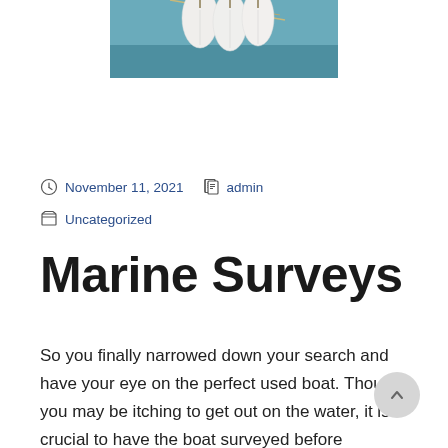[Figure (photo): Partial view of a sailboat with white fenders/buoys hanging from ropes, ocean water in the background]
November 11, 2021   admin
Uncategorized
Marine Surveys
So you finally narrowed down your search and have your eye on the perfect used boat. Though you may be itching to get out on the water, it is crucial to have the boat surveyed before purchasing. What exactly is a marine survey? A marine survey is an inspection, survey, or examination of a marine